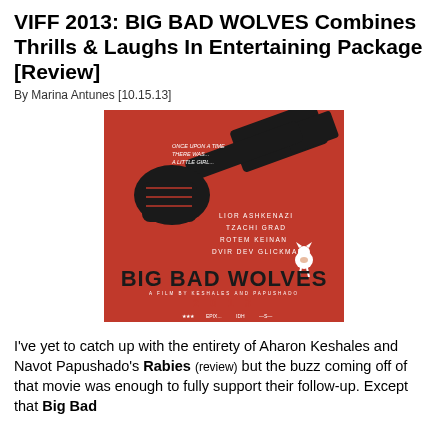VIFF 2013: BIG BAD WOLVES Combines Thrills & Laughs In Entertaining Package [Review]
By Marina Antunes [10.15.13]
[Figure (photo): Movie poster for Big Bad Wolves (2013) — red background with large black hammer silhouette, actor names listed, a small pig-wolf character, film title in large black bold text at bottom, '2013' in red, production logos at base.]
I've yet to catch up with the entirety of Aharon Keshales and Navot Papushado's Rabies (review) but the buzz coming off of that movie was enough to fully support their follow-up. Except that Big Bad